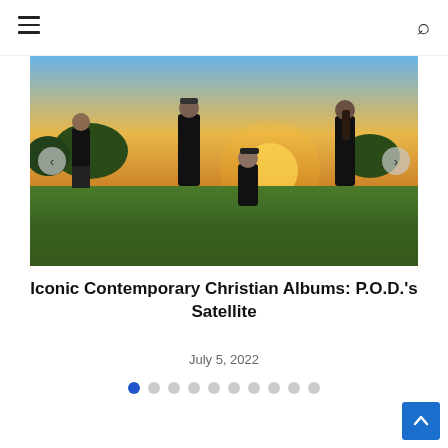Navigation menu and search icon
[Figure (photo): Four band members of P.O.D. posing outdoors in a field at sunset, all wearing dark clothing. Three standing and one crouching in front. Tattoos visible on arms.]
Iconic Contemporary Christian Albums: P.O.D.'s Satellite
July 5, 2022